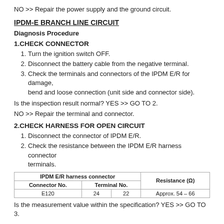NO >> Repair the power supply and the ground circuit.
IPDM-E BRANCH LINE CIRCUIT
Diagnosis Procedure
1.CHECK CONNECTOR
1. Turn the ignition switch OFF.
2. Disconnect the battery cable from the negative terminal.
3. Check the terminals and connectors of the IPDM E/R for damage, bend and loose connection (unit side and connector side).
Is the inspection result normal? YES >> GO TO 2.
NO >> Repair the terminal and connector.
2.CHECK HARNESS FOR OPEN CIRCUIT
1. Disconnect the connector of IPDM E/R.
2. Check the resistance between the IPDM E/R harness connector terminals.
| IPDM E/R harness connector | Resistance (Ω) |
| --- | --- |
| E120 | 24 | 22 | Approx. 54 – 66 |
Is the measurement value within the specification? YES >> GO TO 3.